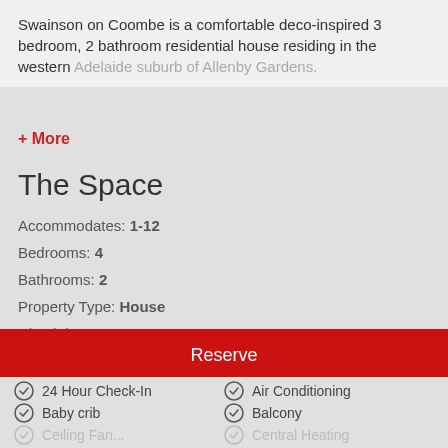Swainson on Coombe is a comfortable deco-inspired 3 bedroom, 2 bathroom residential house residing in the western Adelaide suburb of Allenby Gardens.
+ More
The Space
Accommodates: 1-12
Bedrooms: 4
Bathrooms: 2
Property Type: House
Check-in: 14:00
Check-out: 10:00
Reserve
24 Hour Check-In
Air Conditioning
Baby crib
Balcony
Ceiling Fan...
Central Heating